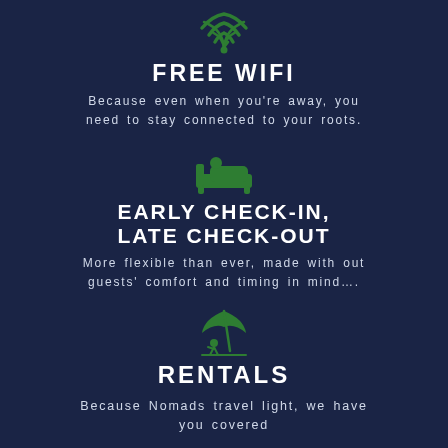[Figure (illustration): Green WiFi icon on dark navy background]
FREE WIFI
Because even when you’re away, you need to stay connected to your roots.
[Figure (illustration): Green bed/sleeping person icon on dark navy background]
EARLY CHECK-IN, LATE CHECK-OUT
More flexible than ever, made with out guests’ comfort and timing in mind….
[Figure (illustration): Green beach umbrella with person icon on dark navy background]
RENTALS
Because Nomads travel light, we have you covered.